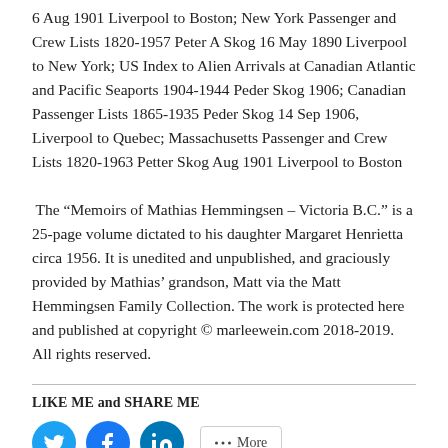6 Aug 1901 Liverpool to Boston; New York Passenger and Crew Lists 1820-1957 Peter A Skog 16 May 1890 Liverpool to New York; US Index to Alien Arrivals at Canadian Atlantic and Pacific Seaports 1904-1944 Peder Skog 1906; Canadian Passenger Lists 1865-1935 Peder Skog 14 Sep 1906, Liverpool to Quebec; Massachusetts Passenger and Crew Lists 1820-1963 Petter Skog Aug 1901 Liverpool to Boston
The “Memoirs of Mathias Hemmingsen – Victoria B.C.” is a 25-page volume dictated to his daughter Margaret Henrietta circa 1956. It is unedited and unpublished, and graciously provided by Mathias’ grandson, Matt via the Matt Hemmingsen Family Collection. The work is protected here and published at copyright © marleewein.com 2018-2019. All rights reserved.
LIKE ME and SHARE ME
[Figure (other): Social media sharing icons: Twitter (blue circle), Facebook (blue circle), LinkedIn (blue circle), and a More button]